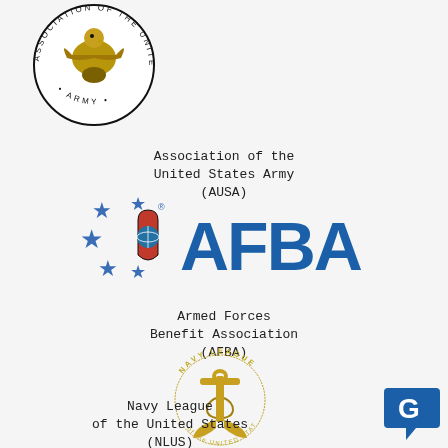[Figure (logo): Association of the United States Army (AUSA) circular seal with eagle and wreath]
Association of the
United States Army
(AUSA)
[Figure (logo): AFBA Armed Forces Benefit Association logo with blue stars and globe shield emblem]
Armed Forces
Benefit Association
(AFBA)
[Figure (logo): Navy League of the United States circular logo with gold anchor]
Navy League
of the United States
(NLUS)
[Figure (logo): Grammarly blue speech bubble G icon]